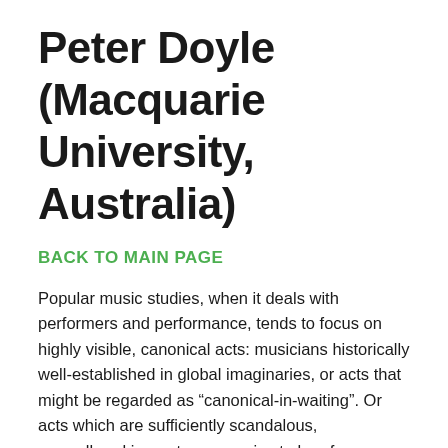Peter Doyle (Macquarie University, Australia)
BACK TO MAIN PAGE
Popular music studies, when it deals with performers and performance, tends to focus on highly visible, canonical acts: musicians historically well-established in global imaginaries, or acts that might be regarded as “canonical-in-waiting”. Or acts which are sufficiently scandalous, groundbreaking or transgressive to be of subcultural significance. Or simply too commercially successful to ignore. There